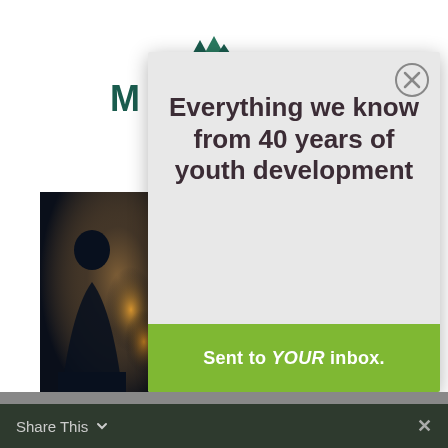[Figure (logo): Three green mountain peak triangles logo icon]
M
[Figure (photo): Dark moody photo of a person silhouetted against a blurred city lights background at night]
Everything we know from 40 years of youth development
Sent to YOUR inbox.
Share This ✓  ×